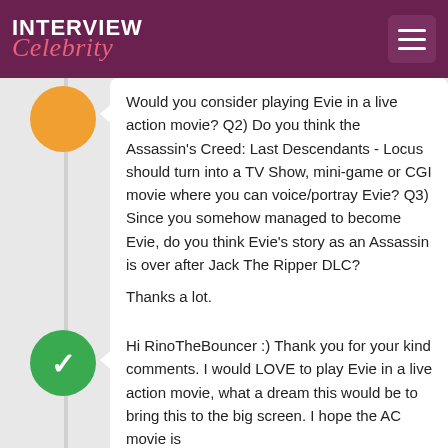INTERVIEW Celebrity
Would you consider playing Evie in a live action movie? Q2) Do you think the Assassin's Creed: Last Descendants - Locus should turn into a TV Show, mini-game or CGI movie where you can voice/portray Evie? Q3) Since you somehow managed to become Evie, do you think Evie's story as an Assassin is over after Jack The Ripper DLC?

Thanks a lot.

Love,
RinoTheBouncer
RinoTheBouncer
Hi RinoTheBouncer :) Thank you for your kind comments. I would LOVE to play Evie in a live action movie, what a dream this would be to bring this to the big screen. I hope the AC movie is